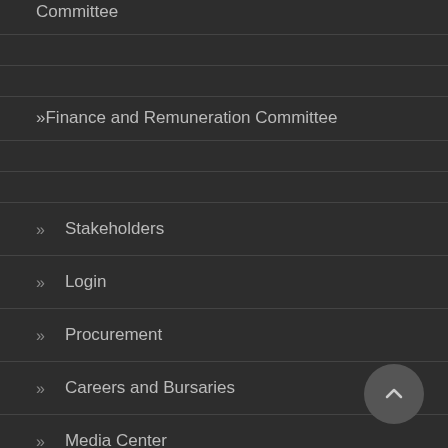Committee
Finance and Remuneration Committee
Stakeholders
Login
Procurement
Careers and Bursaries
Media Center
Contact Us